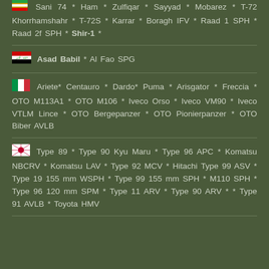Sani 74 * Ham * Zulfiqar * Sayyad * Mobarez * T-72 Khorrhamshahr * T-72S * Karrar * Boragh IFV * Raad 1 SPH * Raad 2f SPH * Shir-1 *
Iraq: Asad Babil * Al Fao SPG
Italy: Ariete* Centauro * Dardo* Puma * Arisgator * Freccia * OTO M113A1 * OTO M106 * Iveco Orso * Iveco VM90 * Iveco VTLM Lince * OTO Bergepanzer * OTO Pionierpanzer * OTO Biber AVLB
Japan: Type 89 * Type 90 Kyu Maru * Type 96 APC * Komatsu NBCRV * Komatsu LAV * Type 92 MCV * Hitachi Type 99 ASV * Type 19 155 mm WSPH * Type 99 155 mm SPH * M110 SPH * Type 96 120 mm SPM * Type 11 ARV * Type 90 ARV * * Type 91 AVLB * Toyota HMV